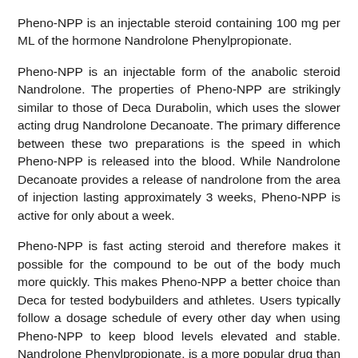Pheno-NPP is an injectable steroid containing 100 mg per ML of the hormone Nandrolone Phenylpropionate.
Pheno-NPP is an injectable form of the anabolic steroid Nandrolone. The properties of Pheno-NPP are strikingly similar to those of Deca Durabolin, which uses the slower acting drug Nandrolone Decanoate. The primary difference between these two preparations is the speed in which Pheno-NPP is released into the blood. While Nandrolone Decanoate provides a release of nandrolone from the area of injection lasting approximately 3 weeks, Pheno-NPP is active for only about a week.
Pheno-NPP is fast acting steroid and therefore makes it possible for the compound to be out of the body much more quickly. This makes Pheno-NPP a better choice than Deca for tested bodybuilders and athletes. Users typically follow a dosage schedule of every other day when using Pheno-NPP to keep blood levels elevated and stable. Nandrolone Phenylpropionate, is a more popular drug than Deca for use in cutting cycles recently, due to this fact.
Pheno-NPP seems to produce less water retention than its